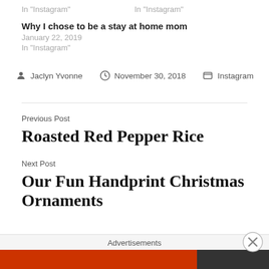In "Instagram"
In "Instagram"
Why I chose to be a stay at home mom
January 22, 2019
In "Instagram"
By Jaclyn Yvonne   November 30, 2018   Instagram
Previous Post
Roasted Red Pepper Rice
Next Post
Our Fun Handprint Christmas Ornaments
Advertisements